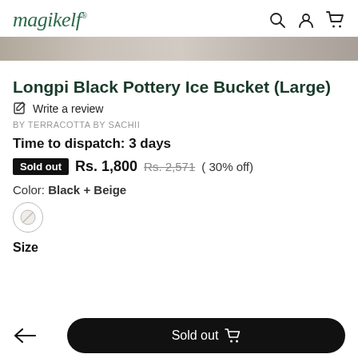magikelf® [search] [account] [cart]
[Figure (photo): Partial hero product image strip]
Longpi Black Pottery Ice Bucket (Large)
Write a review
BY TERRACOTTA BY SACHII
Time to dispatch: 3 days
Sold out  Rs. 1,800  Rs. 2,571  ( 30% off)
Color: Black + Beige
Size
Sold out [cart icon]